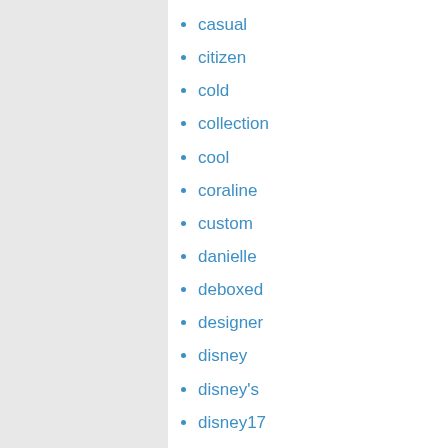casual
citizen
cold
collection
cool
coraline
custom
danielle
deboxed
designer
disney
disney's
disney17
disneyariel
disneyshopping
doll
donald
dooney
draw
dssh
electric
elsa
emma